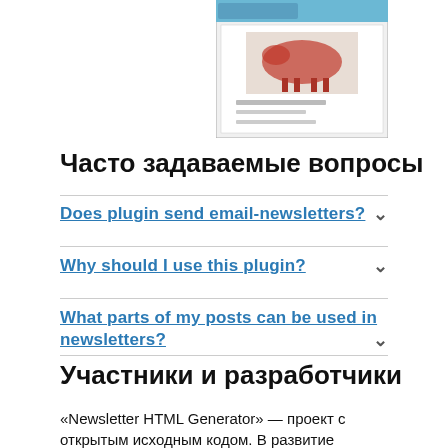[Figure (screenshot): Screenshot of a newsletter plugin interface showing a cow image and plugin UI]
Часто задаваемые вопросы
Does plugin send email-newsletters?
Why should I use this plugin?
What parts of my posts can be used in newsletters?
Участники и разработчики
«Newsletter HTML Generator» — проект с открытым исходным кодом. В развитие плагина